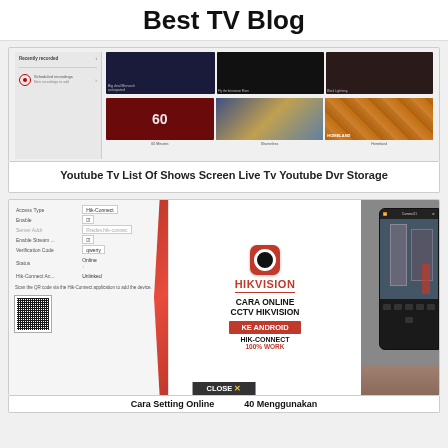Best TV Blog
[Figure (screenshot): Screenshot of YouTube TV DVR interface showing recently recorded shows and scheduled recordings with thumbnail images]
Youtube Tv List Of Shows Screen Live Tv Youtube Dvr Storage
[Figure (photo): Hikvision advertisement showing CARA ONLINE CCTV HIKVISION KE ANDROID with HIK-CONNECT 100% WORK, alongside a settings panel with Access Type: Hik-Connect, Enable, Server Addr, Enable Stream, Verification Code: qwerty, Status: Online, Hik-Connect Ac...: Unlinked, QR code, and a phone showing the Hik-Connect app]
Cara Setting Online ... 40 Menggunakan